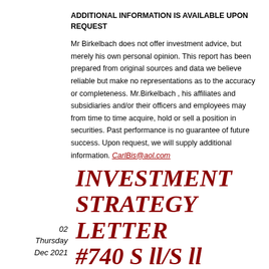ADDITIONAL INFORMATION IS AVAILABLE UPON REQUEST
Mr Birkelbach does not offer investment advice, but merely his own personal opinion. This report has been prepared from original sources and data we believe reliable but make no representations as to the accuracy or completeness. Mr.Birkelbach , his affiliates and subsidiaries and/or their officers and employees may from time to time acquire, hold or sell a position in securities. Past performance is no guarantee of future success. Upon request, we will supply additional information. CarlBis@aol.com
02
Thursday
Dec 2021
INVESTMENT STRATEGY LETTER #740 S ll/S ll